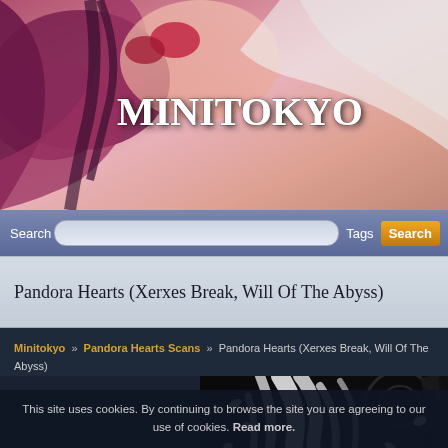[Figure (illustration): Minitokyo website banner with anime character artwork (purple-haired girl lying down, pink/peach tones) and site title MINITOKYO in large white serif font]
Search  Tags  Search
Pandora Hearts (Xerxes Break, Will Of The Abyss)
Minitokyo » Pandora Hearts Scans » Pandora Hearts (Xerxes Break, Will Of The Abyss)
[Figure (illustration): Manga scan showing a white-haired figure (Will of the Abyss) with flowing white hair against a dark/black background with white petal shapes floating around]
This site uses cookies. By continuing to browse the site you are agreeing to our use of cookies. Read more.